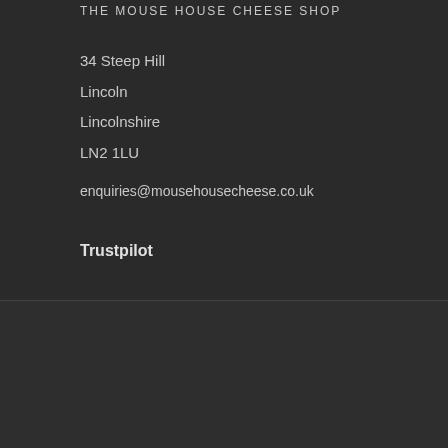THE MOUSE HOUSE CHEESE SHOP
34 Steep Hill
Lincoln
Lincolnshire
LN2 1LU
enquiries@mousehousecheese.co.uk
Trustpilot
© 2022 The Mouse House Cheese & Hamper Company. All rights reserved. Design by Luke Blackmore